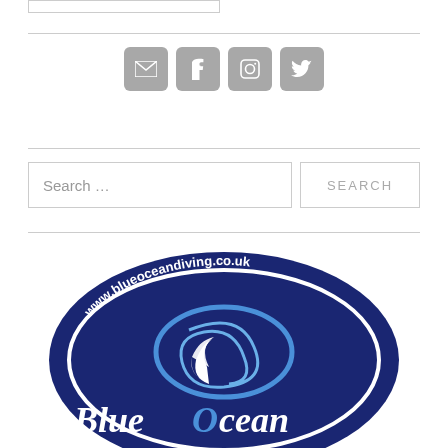[Figure (other): Small search input box at the top of the page, light gray border]
[Figure (other): Social media icon buttons: email, Facebook, Instagram, Twitter — gray rounded square buttons with white icons]
[Figure (other): Search bar with placeholder text 'Search ...' and a SEARCH button]
[Figure (logo): Blue Ocean Diving circular logo — dark navy blue oval with www.blueoceandiving.co.uk text along top, a blue wave/ocean swirl graphic in center, and 'Blue Ocean' text in white script at bottom]